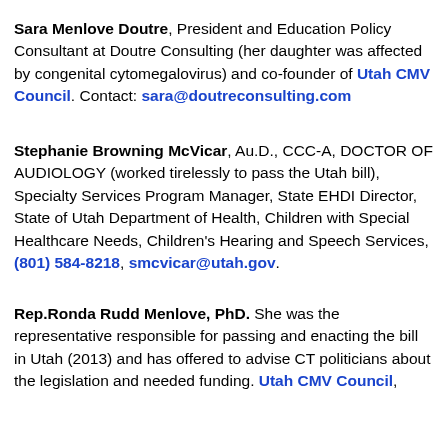Sara Menlove Doutre, President and Education Policy Consultant at Doutre Consulting (her daughter was affected by congenital cytomegalovirus) and co-founder of Utah CMV Council. Contact: sara@doutreconsulting.com
Stephanie Browning McVicar, Au.D., CCC-A, DOCTOR OF AUDIOLOGY (worked tirelessly to pass the Utah bill), Specialty Services Program Manager, State EHDI Director, State of Utah Department of Health, Children with Special Healthcare Needs, Children's Hearing and Speech Services, (801) 584-8218, smcvicar@utah.gov.
Rep.Ronda Rudd Menlove, PhD. She was the representative responsible for passing and enacting the bill in Utah (2013) and has offered to advise CT politicians about the legislation and needed funding. Utah CMV Council,